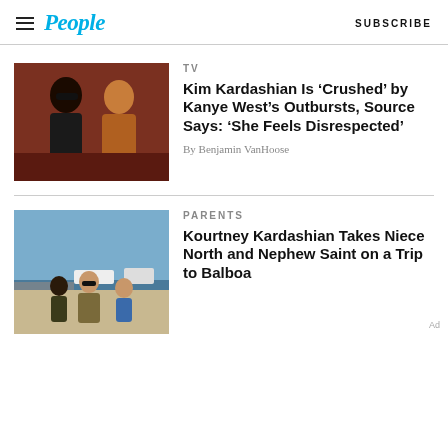People — SUBSCRIBE
[Figure (photo): Photo of Kanye West and Kim Kardashian together at an event, Kanye wearing dark clothing and sunglasses, Kim in a brown leather outfit]
TV
Kim Kardashian Is ‘Crushed’ by Kanye West’s Outbursts, Source Says: ‘She Feels Disrespected’
By Benjamin VanHoose
[Figure (photo): Photo of Kourtney Kardashian with niece North and nephew Saint on a trip to Balboa, outdoors near water]
PARENTS
Kourtney Kardashian Takes Niece North and Nephew Saint on a Trip to Balboa